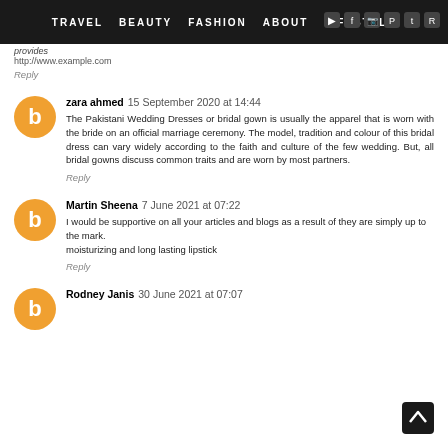TRAVEL   BEAUTY   FASHION   ABOUT   LIFESTYLE
provides
http://www.example.com
Reply
zara ahmed  15 September 2020 at 14:44
The Pakistani Wedding Dresses or bridal gown is usually the apparel that is worn with the bride on an official marriage ceremony. The model, tradition and colour of this bridal dress can vary widely according to the faith and culture of the few wedding. But, all bridal gowns discuss common traits and are worn by most partners.
Reply
Martin Sheena  7 June 2021 at 07:22
I would be supportive on all your articles and blogs as a result of they are simply up to the mark.
moisturizing and long lasting lipstick
Reply
Rodney Janis  30 June 2021 at 07:07